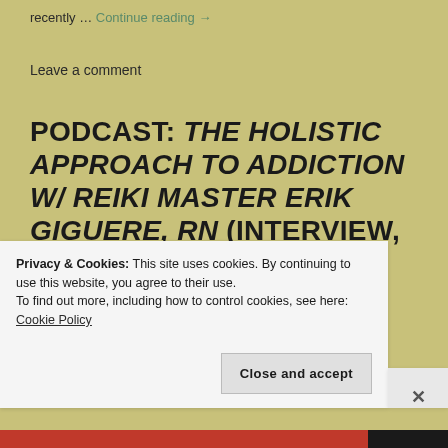recently … Continue reading →
Leave a comment
PODCAST: THE HOLISTIC APPROACH TO ADDICTION W/ REIKI MASTER ERIK GIGUERE, RN (INTERVIEW, PT. 1)
Posted on August 19, 2019
Privacy & Cookies: This site uses cookies. By continuing to use this website, you agree to their use.
To find out more, including how to control cookies, see here: Cookie Policy
Close and accept